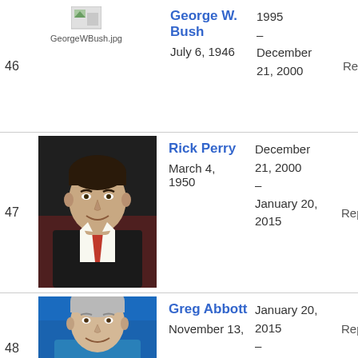| # | Photo | Name / Born | Term | Party |
| --- | --- | --- | --- | --- |
| 46 | GeorgeWBush.jpg | George W. Bush
July 6, 1946 | 1995 –
December 21, 2000 | Republican |
| 47 | [photo] | Rick Perry
March 4, 1950 | December 21, 2000 –
January 20, 2015 | Republican |
| 48 | [photo] | Greg Abbott
November 13, | January 20, 2015 – | Republican |